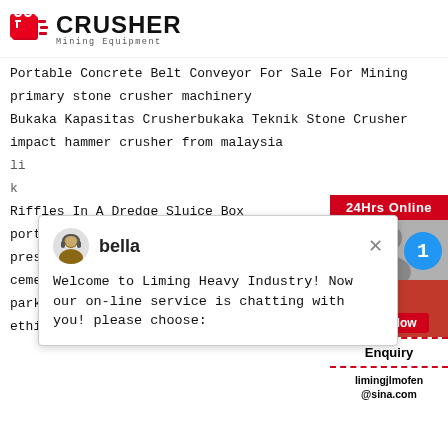[Figure (logo): Crusher Mining Equipment logo with red shopping bag icon and bold CRUSHER text]
Portable Concrete Belt Conveyor For Sale For Mining
primary stone crusher machinery
Bukaka Kapasitas Crusherbukaka Teknik Stone Crusher
impact hammer crusher from malaysia
li
k
Riffles In A Dredge Sluice Box
portable limestone crusher for hire indonesia
press machine mold
cement machine grinding
parker por le crusher
ethiopia crusher quarry crusher
[Figure (screenshot): Chat popup with bella avatar, welcome message from Liming Heavy Industry, and sidebar with 24Hrs Online, Chat Now, Enquiry, limingjlmofen@sina.com]